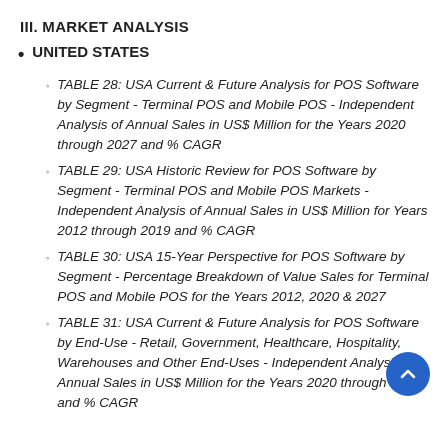III. MARKET ANALYSIS
UNITED STATES
TABLE 28: USA Current & Future Analysis for POS Software by Segment - Terminal POS and Mobile POS - Independent Analysis of Annual Sales in US$ Million for the Years 2020 through 2027 and % CAGR
TABLE 29: USA Historic Review for POS Software by Segment - Terminal POS and Mobile POS Markets - Independent Analysis of Annual Sales in US$ Million for Years 2012 through 2019 and % CAGR
TABLE 30: USA 15-Year Perspective for POS Software by Segment - Percentage Breakdown of Value Sales for Terminal POS and Mobile POS for the Years 2012, 2020 & 2027
TABLE 31: USA Current & Future Analysis for POS Software by End-Use - Retail, Government, Healthcare, Hospitality, Warehouses and Other End-Uses - Independent Analysis of Annual Sales in US$ Million for the Years 2020 through 2027 and % CAGR